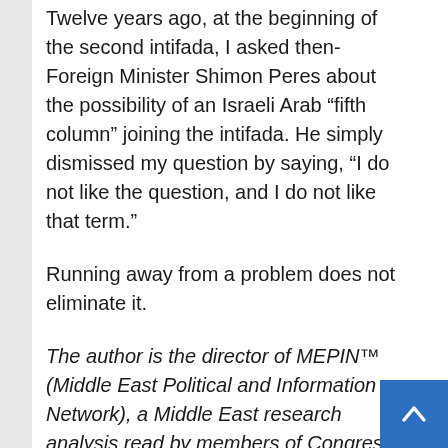Twelve years ago, at the beginning of the second intifada, I asked then-Foreign Minister Shimon Peres about the possibility of an Israeli Arab “fifth column” joining the intifada. He simply dismissed my question by saying, “I do not like the question, and I do not like that term.”
Running away from a problem does not eliminate it.
The author is the director of MEPIN™ (Middle East Political and Information Network), a Middle East research analysis read by members of Congress, their foreign policy advisers, members of the Knesset, journalists and organizational leaders.